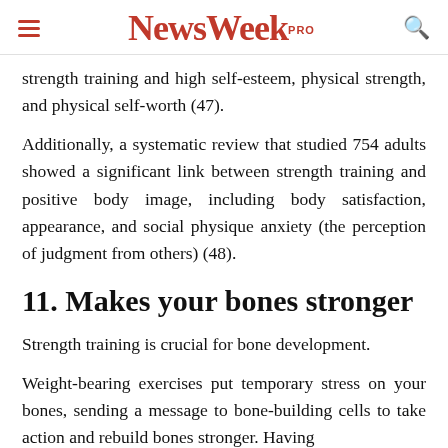NewsWeek PRO
strength training and high self-esteem, physical strength, and physical self-worth (47).
Additionally, a systematic review that studied 754 adults showed a significant link between strength training and positive body image, including body satisfaction, appearance, and social physique anxiety (the perception of judgment from others) (48).
11. Makes your bones stronger
Strength training is crucial for bone development.
Weight-bearing exercises put temporary stress on your bones, sending a message to bone-building cells to take action and rebuild bones stronger. Having